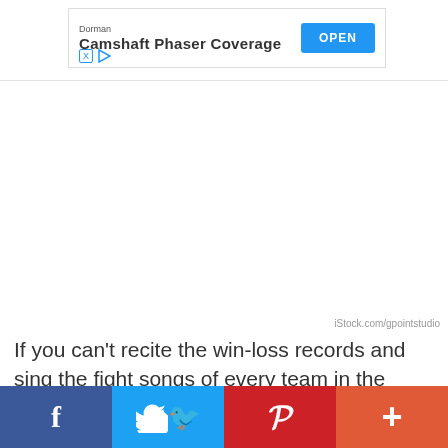[Figure (screenshot): Advertisement banner for Dorman Camshaft Phaser Coverage with an OPEN button]
iStock.com/gpointstudio
If you can't recite the win-loss records and sing the fight songs of every team in the SEC, you're not in this person's league. If they happen to talk to you at all, expect to hear about where
[Figure (infographic): Social sharing bar with Facebook, Twitter, Pinterest, and More buttons]